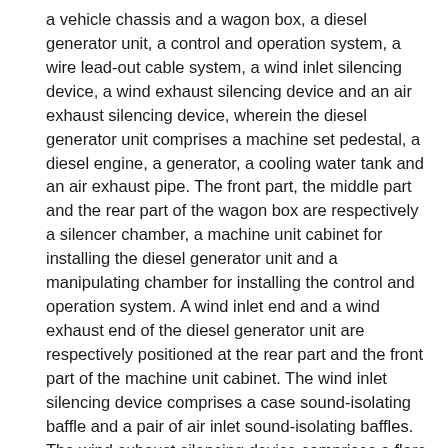a vehicle chassis and a wagon box, a diesel generator unit, a control and operation system, a wire lead-out cable system, a wind inlet silencing device, a wind exhaust silencing device and an air exhaust silencing device, wherein the diesel generator unit comprises a machine set pedestal, a diesel engine, a generator, a cooling water tank and an air exhaust pipe. The front part, the middle part and the rear part of the wagon box are respectively a silencer chamber, a machine unit cabinet for installing the diesel generator unit and a manipulating chamber for installing the control and operation system. A wind inlet end and a wind exhaust end of the diesel generator unit are respectively positioned at the rear part and the front part of the machine unit cabinet. The wind inlet silencing device comprises a case sound-isolating baffle and a pair of air inlet sound-isolating baffles. The wind exhaust silencing device comprises a flare opening, a group of sheet-type silencers and a pair of wind exhaust sound-isolating baffles. The air exhaust silencing device comprises a corrugated damping joint, a resistance silencer and a resistance silencer. The noise of the low-noise on-vehicle power station is around 75dB (A) so that the problem that of the noise listed as residents is also become